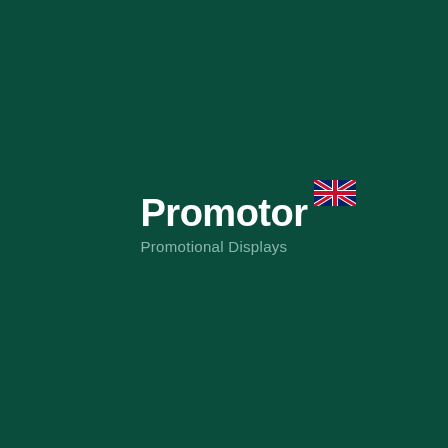[Figure (logo): Promotor Promotional Displays logo on dark teal/green background. Features the word 'Promotor' in bold white sans-serif font with a UK flag (Union Jack) icon positioned in the upper right of the wordmark, and the tagline 'Promotional Displays' in lighter muted teal/grey text below.]